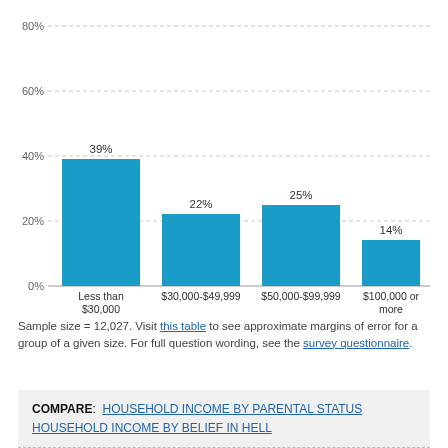[Figure (bar-chart): ]
Sample size = 12,027. Visit this table to see approximate margins of error for a group of a given size. For full question wording, see the survey questionnaire.
COMPARE: HOUSEHOLD INCOME BY PARENTAL STATUS  HOUSEHOLD INCOME BY BELIEF IN HELL